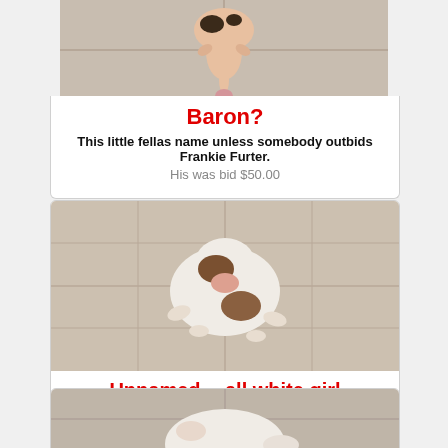[Figure (photo): Newborn puppy with black spots viewed from above on tile floor, top portion cropped]
Baron?
This little fellas name unless somebody outbids Frankie Furter.
His was bid $50.00
[Figure (photo): Small white puppy with brown markings lying on tile floor, viewed from above]
Unnamed -- all white girl
[Figure (photo): White puppy on tile floor, partially cropped at bottom of page]